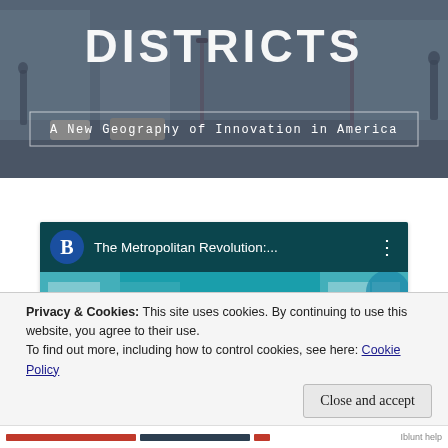[Figure (screenshot): Hero banner with street photography background showing 'DISTRICTS' title and subtitle 'A New Geography of Innovation in America']
[Figure (screenshot): YouTube video embed showing 'The Metropolitan Revolution:...' with Brookings Institution B logo, play button over teal animated illustration of office/street scene with figures]
Privacy & Cookies: This site uses cookies. By continuing to use this website, you agree to their use.
To find out more, including how to control cookies, see here: Cookie Policy
Close and accept